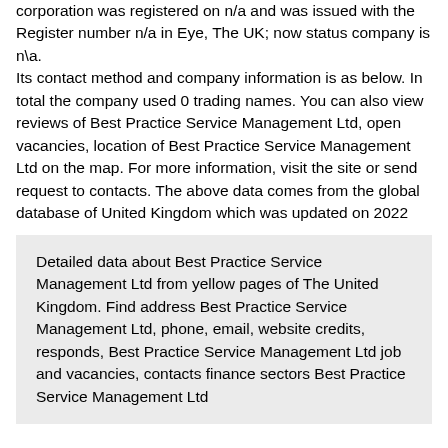corporation was registered on n/a and was issued with the Register number n/a in Eye, The UK; now status company is n\a.
Its contact method and company information is as below. In total the company used 0 trading names. You can also view reviews of Best Practice Service Management Ltd, open vacancies, location of Best Practice Service Management Ltd on the map. For more information, visit the site or send request to contacts. The above data comes from the global database of United Kingdom which was updated on 2022
Detailed data about Best Practice Service Management Ltd from yellow pages of The United Kingdom. Find address Best Practice Service Management Ltd, phone, email, website credits, responds, Best Practice Service Management Ltd job and vacancies, contacts finance sectors Best Practice Service Management Ltd